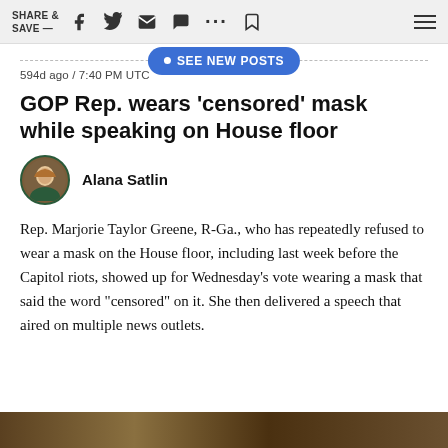SHARE & SAVE —
• SEE NEW POSTS
594d ago / 7:40 PM UTC
GOP Rep. wears 'censored' mask while speaking on House floor
Alana Satlin
Rep. Marjorie Taylor Greene, R-Ga., who has repeatedly refused to wear a mask on the House floor, including last week before the Capitol riots, showed up for Wednesday's vote wearing a mask that said the word "censored" on it. She then delivered a speech that aired on multiple news outlets.
[Figure (photo): Bottom portion of a photo showing a news broadcast or event scene, partially visible at the bottom of the page.]